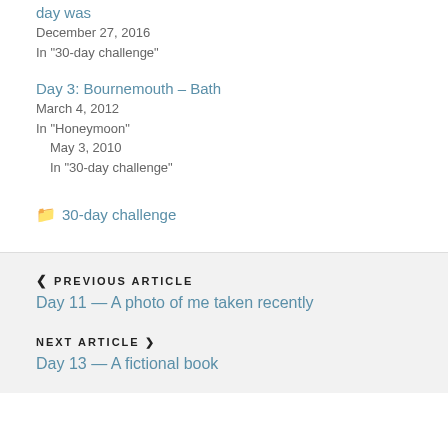day was
December 27, 2016
In "30-day challenge"
May 3, 2010
In "30-day challenge"
Day 3: Bournemouth – Bath
March 4, 2012
In "Honeymoon"
📁 30-day challenge
❮ PREVIOUS ARTICLE
Day 11 — A photo of me taken recently
NEXT ARTICLE ❯
Day 13 — A fictional book